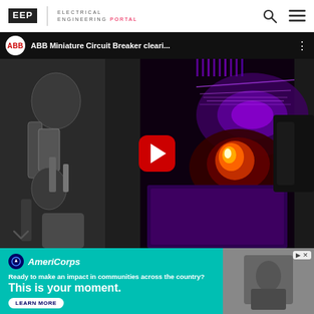EEP | ELECTRICAL ENGINEERING PORTAL
[Figure (screenshot): YouTube video thumbnail showing ABB Miniature Circuit Breaker clearing a fault, with purple electrical arc visible inside the breaker housing. Video title bar shows ABB logo and 'ABB Miniature Circuit Breaker cleari...' with a red YouTube play button overlaid on the thumbnail.]
[Figure (photo): AmeriCorps advertisement banner with teal background showing logo, tagline 'Ready to make an impact in communities across the country?', headline 'This is your moment.' and LEARN MORE button, with a photo on the right side.]